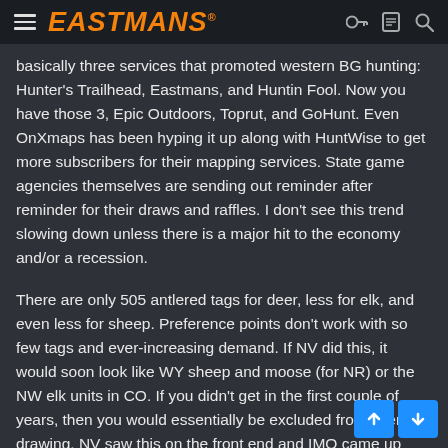EASTMANS
basically three services that promoted western BG hunting: Hunter's Trailhead, Eastmans, and Huntin Fool. Now you have those 3, Epic Outdoors, Toprut, and GoHunt. Even OnXmaps has been hyping it up along with HuntWise to get more subscribers for their mapping services. State game agencies themselves are sending out reminder after reminder for their draws and raffles. I don't see this trend slowing down unless there is a major hit to the economy and/or a recession.
There are only 505 antlered tags for deer, less for elk, and even less for sheep. Preference points don't work with so few tags and ever-increasing demand. If NV did this, it would soon look like WY sheep and moose (for NR) or the NW elk units in CO. If you didn't get in the first couple of years, then you would essentially be excluded from ever drawing. NV saw this on the front end and IMO came up with the best solution: reward you for past apps by squaring points while